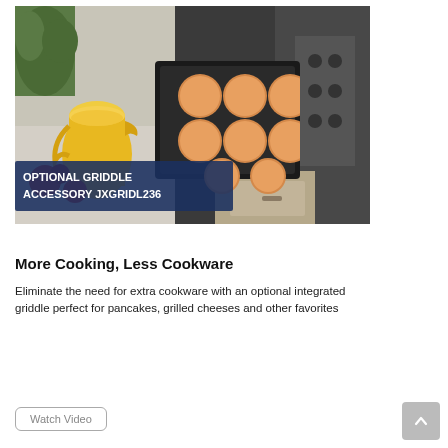[Figure (photo): A kitchen cooktop with a black griddle accessory holding 9 pancakes. A yellow pitcher of orange juice and fruit are visible to the left. A text overlay reads 'OPTIONAL GRIDDLE ACCESSORY JXGRIDL236' on a dark blue background.]
More Cooking, Less Cookware
Eliminate the need for extra cookware with an optional integrated griddle perfect for pancakes, grilled cheeses and other favorites